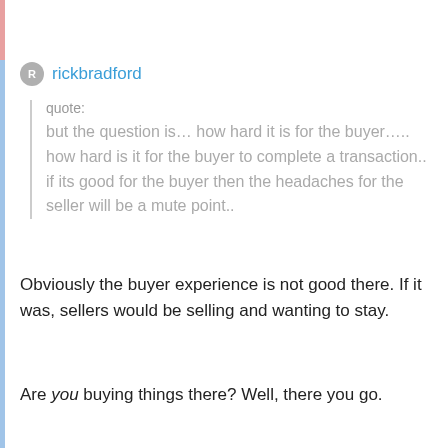rickbradford
quote:
but the question is… how hard it is for the buyer….. how hard is it for the buyer to complete a transaction.. if its good for the buyer then the headaches for the seller will be a mute point..
Obviously the buyer experience is not good there. If it was, sellers would be selling and wanting to stay.
Are you buying things there? Well, there you go.